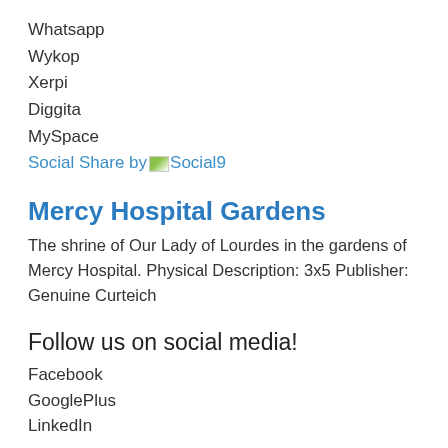Whatsapp
Wykop
Xerpi
Diggita
MySpace
Social Share by Social9
Mercy Hospital Gardens
The shrine of Our Lady of Lourdes in the gardens of Mercy Hospital. Physical Description: 3x5 Publisher: Genuine Curteich
Follow us on social media!
Facebook
GooglePlus
LinkedIn